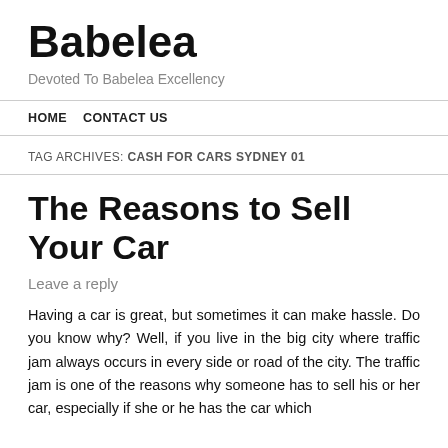Babelea
Devoted To Babelea Excellency
HOME   CONTACT US
TAG ARCHIVES: CASH FOR CARS SYDNEY 01
The Reasons to Sell Your Car
Leave a reply
Having a car is great, but sometimes it can make hassle. Do you know why? Well, if you live in the big city where traffic jam always occurs in every side or road of the city. The traffic jam is one of the reasons why someone has to sell his or her car, especially if she or he has the car which